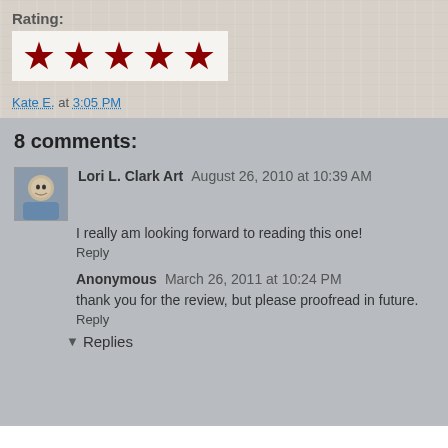Rating:
[Figure (illustration): Five dark red stars in a white/light box representing a 5-star rating]
Kate E. at 3:05 PM
8 comments:
Lori L. Clark Art August 26, 2010 at 10:39 AM
I really am looking forward to reading this one!
Reply
Anonymous March 26, 2011 at 10:24 PM
thank you for the review, but please proofread in future.
Reply
Replies